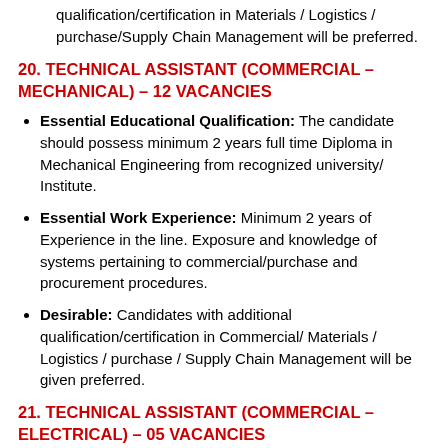qualification/certification in Materials / Logistics / purchase/Supply Chain Management will be preferred.
20. TECHNICAL ASSISTANT (COMMERCIAL – MECHANICAL) – 12 VACANCIES
Essential Educational Qualification: The candidate should possess minimum 2 years full time Diploma in Mechanical Engineering from recognized university/Institute.
Essential Work Experience: Minimum 2 years of Experience in the line. Exposure and knowledge of systems pertaining to commercial/purchase and procurement procedures.
Desirable: Candidates with additional qualification/certification in Commercial/ Materials / Logistics / purchase / Supply Chain Management will be given preferred.
21. TECHNICAL ASSISTANT (COMMERCIAL – ELECTRICAL) – 05 VACANCIES